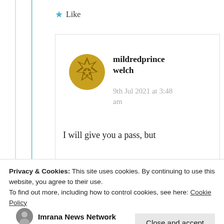★ Like
mildredprince welch
9th Jul 2021 at 3:48 am
I will give you a pass, but
Privacy & Cookies: This site uses cookies. By continuing to use this website, you agree to their use. To find out more, including how to control cookies, see here: Cookie Policy
Close and accept
Imrana News Network